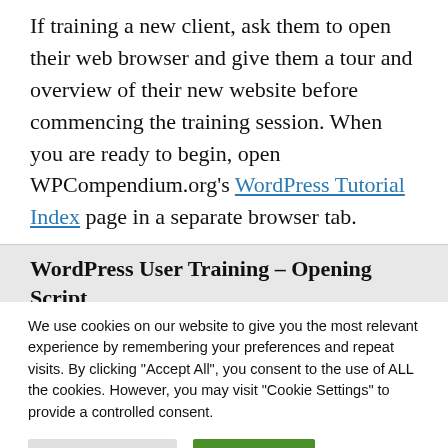If training a new client, ask them to open their web browser and give them a tour and overview of their new website before commencing the training session. When you are ready to begin, open WPCompendium.org's WordPress Tutorial Index page in a separate browser tab.
WordPress User Training – Opening Script
We use cookies on our website to give you the most relevant experience by remembering your preferences and repeat visits. By clicking "Accept All", you consent to the use of ALL the cookies. However, you may visit "Cookie Settings" to provide a controlled consent.